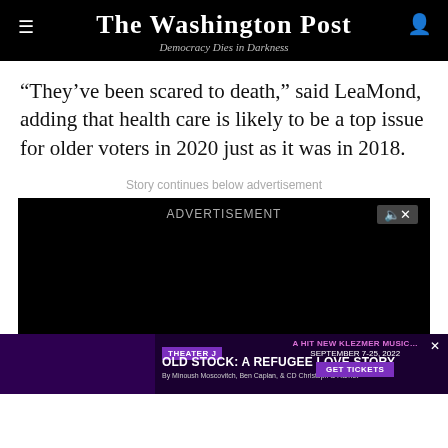The Washington Post
Democracy Dies in Darkness
“They’ve been scared to death,” said LeaMond, adding that health care is likely to be a top issue for older voters in 2020 just as it was in 2018.
Story continues below advertisement
[Figure (other): Black advertisement video player with ADVERTISEMENT label and speaker/mute icon]
[Figure (other): Theater J advertisement banner: OLD STOCK: A REFUGEE LOVE STORY, September 7-25, 2022, GET TICKETS]